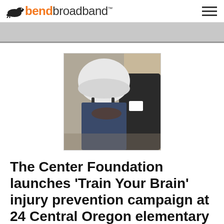bendbroadband
[Figure (photo): A person wearing a white helmet being assisted, with another person visible in dark clothing with a name badge]
The Center Foundation launches 'Train Your Brain' injury prevention campaign at 24 Central Oregon elementary schools
Posted on April 2, 2019 by cmccollum • 0 Comments